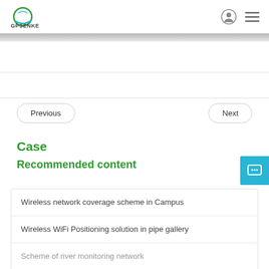GPSENKE
Previous
Next
Case
Recommended content
Wireless network coverage scheme in Campus
Wireless WiFi Positioning solution in pipe gallery
Scheme of river monitoring network